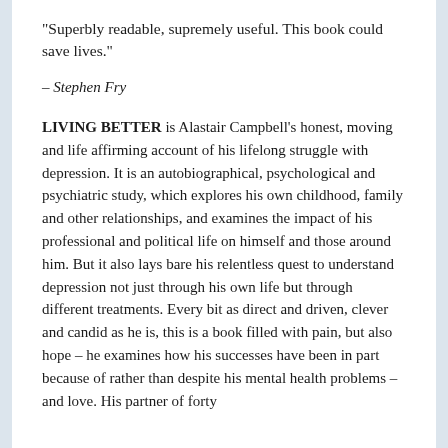"Superbly readable, supremely useful. This book could save lives."
– Stephen Fry
LIVING BETTER is Alastair Campbell's honest, moving and life affirming account of his lifelong struggle with depression. It is an autobiographical, psychological and psychiatric study, which explores his own childhood, family and other relationships, and examines the impact of his professional and political life on himself and those around him. But it also lays bare his relentless quest to understand depression not just through his own life but through different treatments. Every bit as direct and driven, clever and candid as he is, this is a book filled with pain, but also hope – he examines how his successes have been in part because of rather than despite his mental health problems – and love. His partner of forty